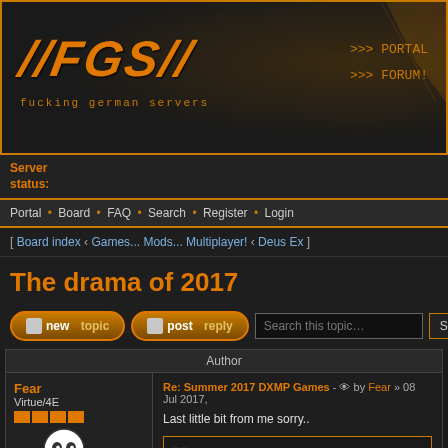[Figure (logo): //FGS// forum logo with text 'fucking german servers' and navigation links >>> PORTAL >>> FORUM!]
Server status:
Portal • Board • FAQ • Search • Register • Login
[ Board index ‹ Games... Mods... Multiplayer! ‹ Deus Ex ]
The drama of 2017
new topic  post reply  Search this topic…  Search
| Author | Post Content |
| --- | --- |
| Fear
Virtue/4E | Re: Summer 2017 DXMP Games - by Fear » 08 Jul 2017,
Last little bit from me sorry..
synthetic wrote:
Fear only problem I have had with you was that y... Another player might take accusations of cheatin... but I always found them extremely annoying. I ca... cheating. And so year after year after year. Do... |